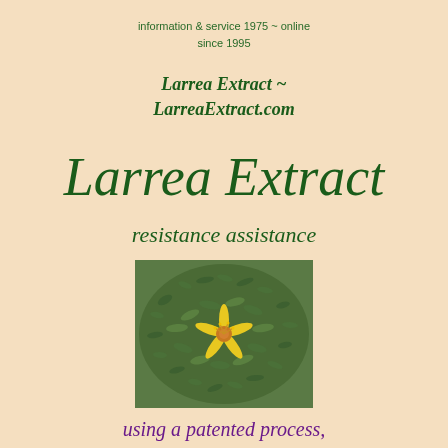information & service 1975 ~ online since 1995
Larrea Extract ~
LarreaExtract.com
Larrea Extract
resistance assistance
[Figure (photo): Close-up photograph of a Larrea (creosote bush) plant with small yellow flower and green leaves]
using a patented process,
a much more helpful extract